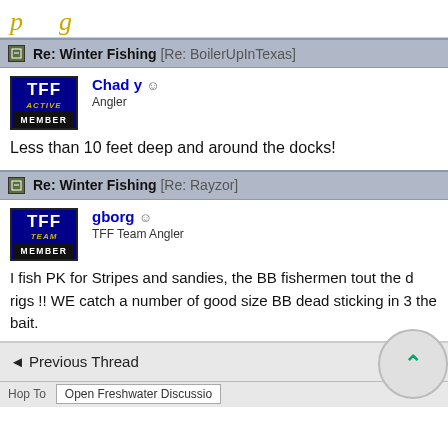p g
Re: Winter Fishing [Re: BoilerUpInTexas]
Chad y
Angler
Less than 10 feet deep and around the docks!
Re: Winter Fishing [Re: Rayzor]
gborg
TFF Team Angler
I fish PK for Stripes and sandies, the BB fishermen tout the d rigs !! WE catch a number of good size BB dead sticking in 3 the bait.
◄ Previous Thread   ▲ Index
Hop To   Open Freshwater Discussio